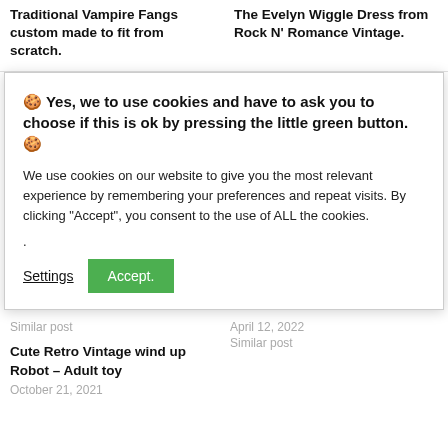Traditional Vampire Fangs custom made to fit from scratch.
The Evelyn Wiggle Dress from Rock N’ Romance Vintage.
🍪 Yes, we to use cookies and have to ask you to choose if this is ok by pressing the little green button. 🍪
We use cookies on our website to give you the most relevant experience by remembering your preferences and repeat visits. By clicking “Accept”, you consent to the use of ALL the cookies.
.
Settings   Accept.
Similar post
April 12, 2022
Similar post
Cute Retro Vintage wind up Robot – Adult toy
October 21, 2021